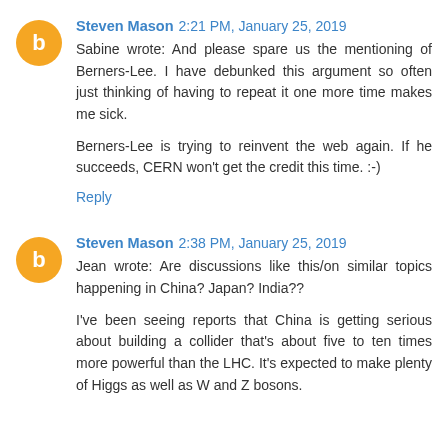Steven Mason 2:21 PM, January 25, 2019
Sabine wrote: And please spare us the mentioning of Berners-Lee. I have debunked this argument so often just thinking of having to repeat it one more time makes me sick.

Berners-Lee is trying to reinvent the web again. If he succeeds, CERN won't get the credit this time. :-)

Reply
Steven Mason 2:38 PM, January 25, 2019
Jean wrote: Are discussions like this/on similar topics happening in China? Japan? India??

I've been seeing reports that China is getting serious about building a collider that's about five to ten times more powerful than the LHC. It's expected to make plenty of Higgs as well as W and Z bosons.